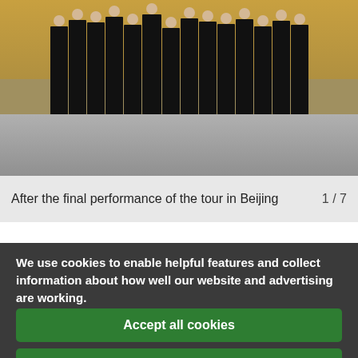[Figure (photo): Group of choir performers dressed in black standing in a row after their final performance in Beijing. Yellow/gold background visible behind them on stage.]
After the final performance of the tour in Beijing    1 / 7
We use cookies to enable helpful features and collect information about how well our website and advertising are working.
Accept all cookies
Manage your cookie preferences